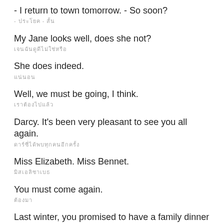- I return to town tomorrow. - So soon?
- ประโยค - สั้น
My Jane looks well, does she not?
เจนฉันดูดีไม่ใช่หรือ
She does indeed.
แน่นอน
Well, we must be going, I think.
เราต้องไปแล้ว
Darcy. It's been very pleasant to see you all again.
ดาร์ซี่ได้พบทุกคนอีกครั้ง
Miss Elizabeth. Miss Bennet.
มิสเอลิซาเบธ
You must come again.
ต้องมา
Last winter, you promised to have a family dinner with us.
คุณสัญญาว่าจะมาทานข้าวกับครอบครัว
I must from to you... At least th...